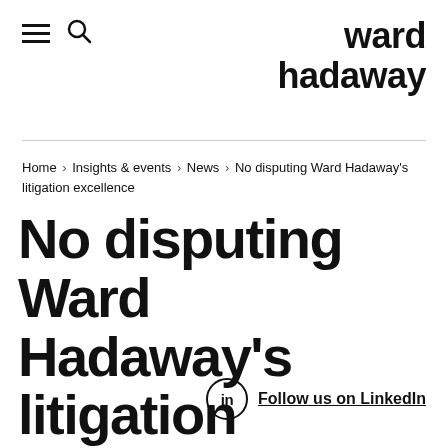ward hadaway
Home › Insights & events › News › No disputing Ward Hadaway's litigation excellence
No disputing Ward Hadaway's litigation excellence
Follow us on LinkedIn